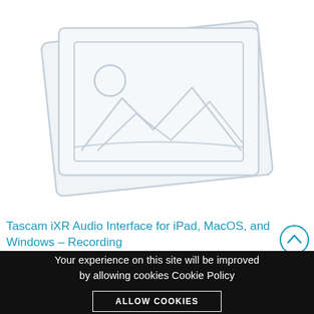[Figure (illustration): Placeholder image icon showing two overlapping photo/image frames with a mountain landscape and sun/circle, rendered in light gray lines on white background]
Tascam iXR Audio Interface for iPad, MacOS, and Windows - Recording
Your experience on this site will be improved by allowing cookies Cookie Policy
ALLOW COOKIES